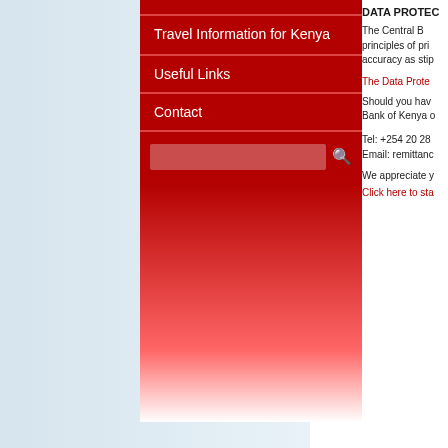Travel Information for Kenya
Useful Links
Contact
DATA PROTECTION
The Central Bank of Kenya is committed to the principles of privacy, confidentiality, and data accuracy as stipulated...
The Data Protection...
Should you have any enquiries, please contact the Bank of Kenya on:
Tel: +254 20 28...
Email: remittance...
We appreciate your...
Click here to sta...